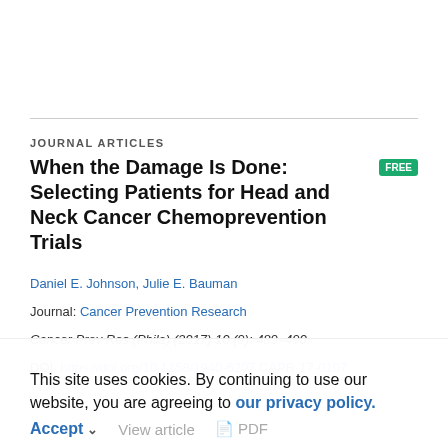JOURNAL ARTICLES
When the Damage Is Done: Selecting Patients for Head and Neck Cancer Chemoprevention Trials
Daniel E. Johnson, Julie E. Bauman
Journal: Cancer Prevention Research
Cancer Prev Res (Phila) (2017) 10 (9): 489–490.
DOI: https://doi.org/10.1158/1940-6207.CAPR-17-0107
This site uses cookies. By continuing to use our website, you are agreeing to our privacy policy. Accept